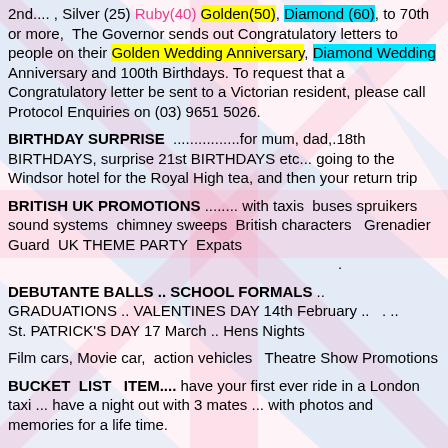2nd.... , Silver (25) Ruby(40) Golden(50), Diamond (60), to 70th or more, The Governor sends out Congratulatory letters to people on their Golden Wedding Anniversary, Diamond Wedding Anniversary and 100th Birthdays. To request that a Congratulatory letter be sent to a Victorian resident, please call Protocol Enquiries on (03) 9651 5026.
BIRTHDAY SURPRISE ................for mum, dad,.18th BIRTHDAYS, surprise 21st BIRTHDAYS etc... going to the Windsor hotel for the Royal High tea, and then your return trip
BRITISH UK PROMOTIONS ........ with taxis buses spruikers sound systems chimney sweeps British characters Grenadier Guard UK THEME PARTY Expats
DEBUTANTE BALLS .. SCHOOL FORMALS .. GRADUATIONS .. VALENTINES DAY 14th February .. . .. St. PATRICK'S DAY 17 March .. Hens Nights
Film cars, Movie car, action vehicles Theatre Show Promotions
BUCKET LIST ITEM.... have your first ever ride in a London taxi ... have a night out with 3 mates ... with photos and memories for a life time.